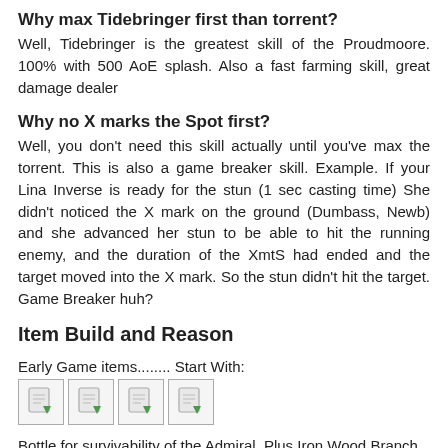Why max Tidebringer first than torrent?
Well, Tidebringer is the greatest skill of the Proudmoore. 100% with 500 AoE splash. Also a fast farming skill, great damage dealer
Why no X marks the Spot first?
Well, you don't need this skill actually until you've max the torrent. This is also a game breaker skill. Example. If your Lina Inverse is ready for the stun (1 sec casting time) She didn't noticed the X mark on the ground (Dumbass, Newb) and she advanced her stun to be able to hit the running enemy, and the duration of the XmtS had ended and the target moved into the X mark. So the stun didn't hit the target. Game Breaker huh?
Item Build and Reason
Early Game items........ Start With:
[Figure (illustration): Four item icons displayed in a row, each showing a document/item placeholder icon with a green arrow indicator]
Bottle for survivability of the Admiral. Plus Iron Wood Branch